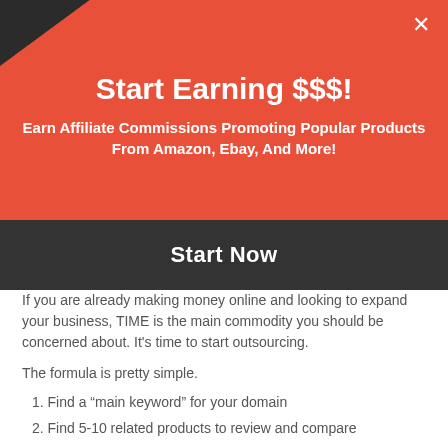Start Earning $$$!
Earn Affiliate Commissions Promoting Popular Products From Amazon, Ebay, And More!
Start Now
If you are already making money online and looking to expand your business, TIME is the main commodity you should be concerned about. It’s time to start outsourcing.
The formula is pretty simple.
1. Find a “main keyword” for your domain
2. Find 5-10 related products to review and compare
3. Plan 3-4 months worth of keyword related